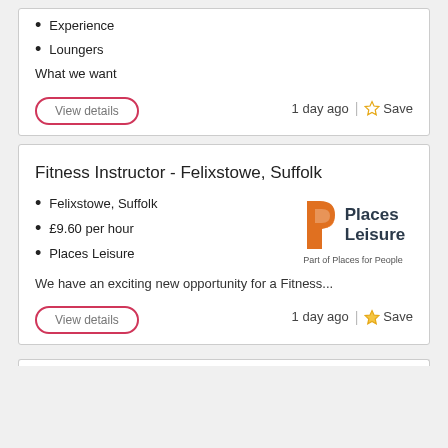Experience
Loungers
What we want
View details
1 day ago
Save
Fitness Instructor - Felixstowe, Suffolk
Felixstowe, Suffolk
£9.60 per hour
Places Leisure
[Figure (logo): Places Leisure logo with orange P icon and Places Leisure text, Part of Places for People]
We have an exciting new opportunity for a Fitness...
View details
1 day ago
Save